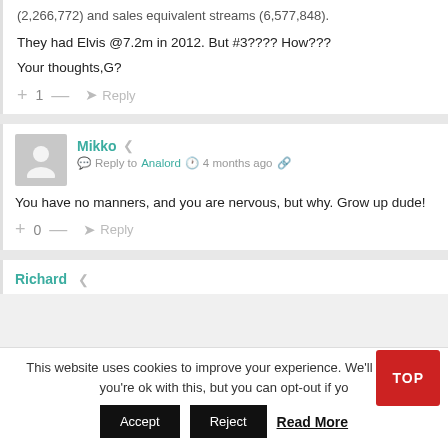(2,266,772) and sales equivalent streams (6,577,848).
They had Elvis @7.2m in 2012. But #3???? How???
Your thoughts,G?
+ 1 — ➜ Reply
Mikko ≪ ✉ Reply to Analord 🕐 4 months ago 🔗
You have no manners, and you are nervous, but why. Grow up dude!
+ 0 — ➜ Reply
Richard ≪
This website uses cookies to improve your experience. We'll assume you're ok with this, but you can opt-out if you
Accept  Reject  Read More